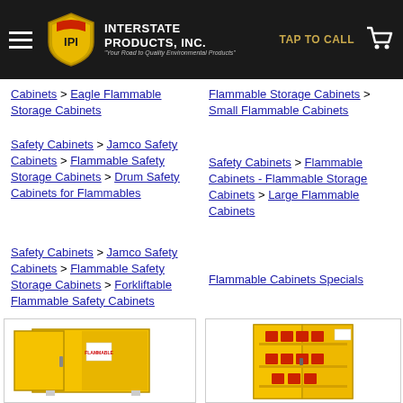Interstate Products, Inc. — TAP TO CALL
Cabinets > Eagle Flammable Storage Cabinets
Safety Cabinets > Jamco Safety Cabinets > Flammable Safety Storage Cabinets > Drum Safety Cabinets for Flammables
Safety Cabinets > Jamco Safety Cabinets > Flammable Safety Storage Cabinets > Forkliftable Flammable Safety Cabinets
Flammable Storage Cabinets > Small Flammable Cabinets
Safety Cabinets > Flammable Cabinets - Flammable Storage Cabinets > Large Flammable Cabinets
Flammable Cabinets Specials
[Figure (photo): Yellow flammable safety cabinet with door open, small compact unit]
[Figure (photo): Tall yellow flammable storage cabinet with shelves holding red chemical containers]